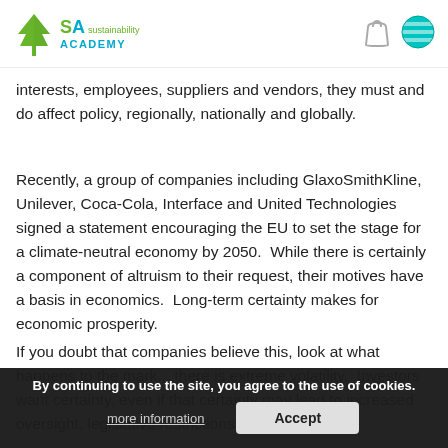Sustainability Academy
interests, employees, suppliers and vendors, they must and do affect policy, regionally, nationally and globally.
Recently, a group of companies including GlaxoSmithKline, Unilever, Coca-Cola, Interface and United Technologies signed a statement encouraging the EU to set the stage for a climate-neutral economy by 2050.  While there is certainly a component of altruism to their request, their motives have a basis in economics.  Long-term certainty makes for economic prosperity.
If you doubt that companies believe this, look at what happens to the mark... there is extreme volatility.  Investors want certainty, even if that certainty may lead to increased oversight, legislative restrictions and even taxes.